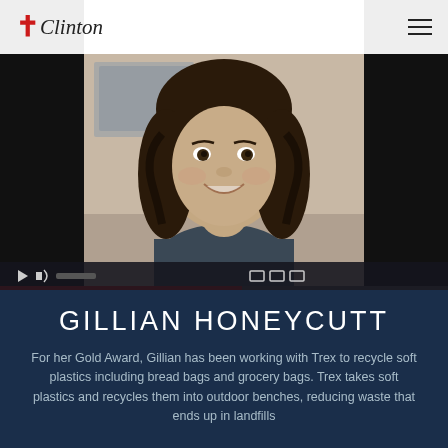Clinton (logo with cross)
[Figure (photo): Video screenshot of a young woman with curly dark hair and a gray shirt, smiling at camera. Video player controls and progress bar visible at bottom. Left and right black bars flank the center image.]
GILLIAN HONEYCUTT
For her Gold Award, Gillian has been working with Trex to recycle soft plastics including bread bags and grocery bags. Trex takes soft plastics and recycles them into outdoor benches, reducing waste that ends up in landfills